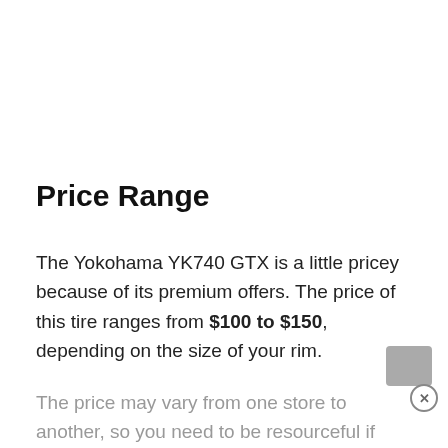Price Range
The Yokohama YK740 GTX is a little pricey because of its premium offers. The price of this tire ranges from $100 to $150, depending on the size of your rim.
The price may vary from one store to another, so you need to be resourceful if you want to